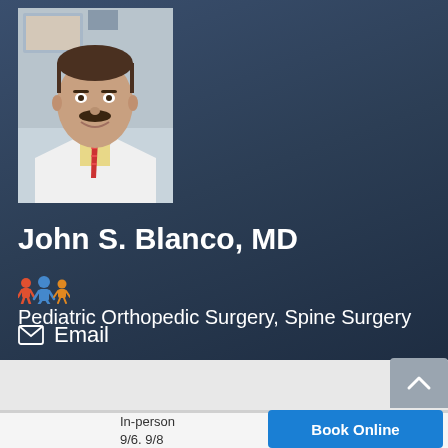[Figure (photo): Headshot photo of Dr. John S. Blanco, MD, a man with a mustache wearing a white lab coat, yellow shirt, and red striped tie, smiling]
John S. Blanco, MD
Pediatric Orthopedic Surgery, Spine Surgery
Email
In-person
9/6. 9/8
Book Online